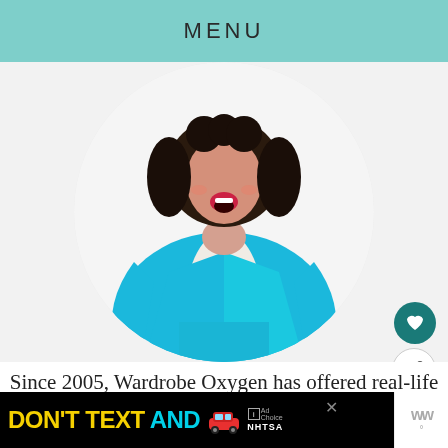MENU
[Figure (photo): Woman smiling with curly hair wearing a bright teal/turquoise blazer and matching teal pants, cropped in a circular frame, white background]
Since 2005, Wardrobe Oxygen has offered real-life style advice for
[Figure (other): Advertisement banner: DON'T TEXT AND [car emoji] with ad choices logo and NHTSA branding on black background]